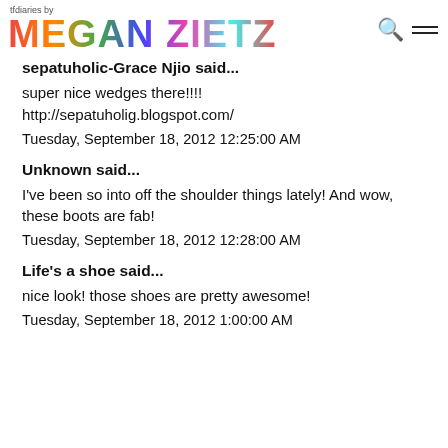tfdiaries by MEGAN ZIETZ
sepatuholic-Grace Njio said...
super nice wedges there!!!!
http://sepatuholig.blogspot.com/
Tuesday, September 18, 2012 12:25:00 AM
Unknown said...
I've been so into off the shoulder things lately! And wow, these boots are fab!
Tuesday, September 18, 2012 12:28:00 AM
Life's a shoe said...
nice look! those shoes are pretty awesome!
Tuesday, September 18, 2012 1:00:00 AM